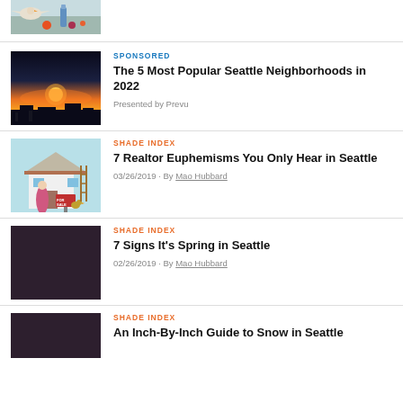[Figure (photo): Partial thumbnail of colorful bird/food illustration at top of page]
[Figure (photo): Aerial sunset photo of Seattle neighborhood with orange sky]
SPONSORED
The 5 Most Popular Seattle Neighborhoods in 2022
Presented by Prevu
[Figure (illustration): Cartoon illustration of a woman realtor in pink coat holding a For Sale sign in front of a house]
SHADE INDEX
7 Realtor Euphemisms You Only Hear in Seattle
03/26/2019 · By Mao Hubbard
[Figure (photo): Dark purple/maroon toned photo]
SHADE INDEX
7 Signs It's Spring in Seattle
02/26/2019 · By Mao Hubbard
[Figure (photo): Dark purple/maroon toned photo]
SHADE INDEX
An Inch-By-Inch Guide to Snow in Seattle